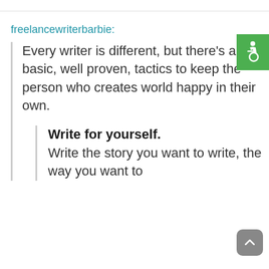freelancewriterbarbie:
Every writer is different, but there's a few basic, well proven, tactics to keep the person who creates world happy in their own.
Write for yourself. Write the story you want to write, the way you want to